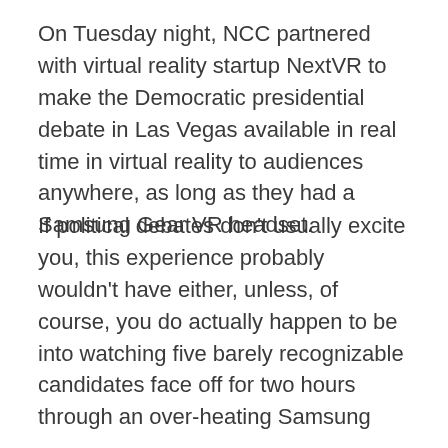On Tuesday night, NCC partnered with virtual reality startup NextVR to make the Democratic presidential debate in Las Vegas available in real time in virtual reality to audiences anywhere, as long as they had a Samsung Gear VR headset.
If political debates don't usually excite you, this experience probably wouldn't have either, unless, of course, you do actually happen to be into watching five barely recognizable candidates face off for two hours through an over-heating Samsung